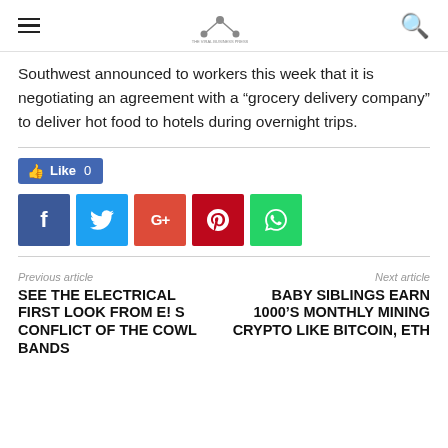Southwest announced to workers this week that it is negotiating an agreement with a “grocery delivery company” to deliver hot food to hotels during overnight trips.
[Figure (other): Social sharing buttons: Like 0 button (Facebook blue), and five social media icons (Facebook, Twitter, Google+, Pinterest, WhatsApp)]
Previous article
SEE THE ELECTRICAL FIRST LOOK FROM E! S CONFLICT OF THE COWL BANDS
Next article
BABY SIBLINGS EARN 1000’S MONTHLY MINING CRYPTO LIKE BITCOIN, ETH